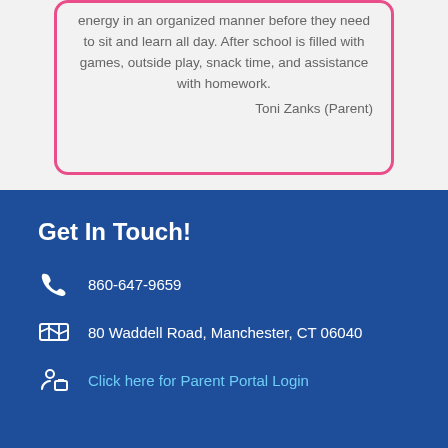energy in an organized manner before they need to sit and learn all day. After school is filled with games, outside play, snack time, and assistance with homework.
Toni Zanks (Parent)
Get In Touch!
860-647-9659
80 Waddell Road, Manchester, CT 06040
Click here for Parent Portal Login